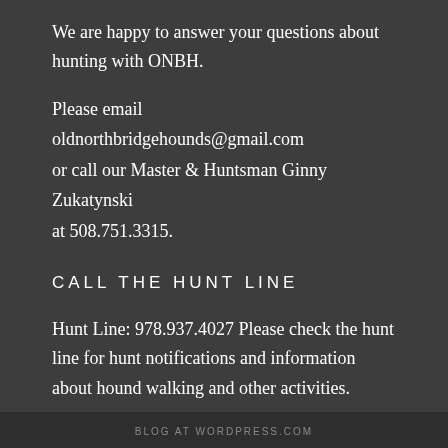We are happy to answer your questions about hunting with ONBH.
Please email oldnorthbridgehounds@gmail.com or call our Master & Huntsman Ginny Zukatynski at 508.751.3315.
CALL THE HUNT LINE
Hunt Line: 978.937.4027 Please check the hunt line for hunt notifications and information about hound walking and other activities.
BLOG AT WORDPRESS.COM